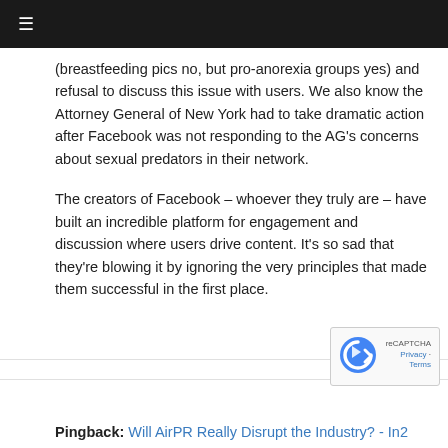≡
(breastfeeding pics no, but pro-anorexia groups yes) and refusal to discuss this issue with users. We also know the Attorney General of New York had to take dramatic action after Facebook was not responding to the AG's concerns about sexual predators in their network.
The creators of Facebook – whoever they truly are – have built an incredible platform for engagement and discussion where users drive content. It's so sad that they're blowing it by ignoring the very principles that made them successful in the first place.
Pingback: Will AirPR Really Disrupt the Industry? - In2